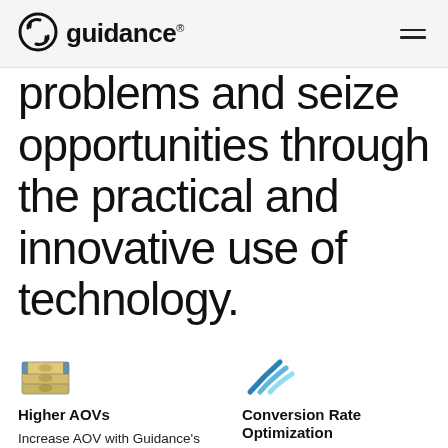guidance®
problems and seize opportunities through the practical and innovative use of technology.
[Figure (illustration): Stack of money bills icon representing Higher AOVs]
Higher AOVs
Increase AOV with Guidance's personalized, data
[Figure (illustration): Stylized wifi/speed lines icon representing Conversion Rate Optimization]
Conversion Rate Optimization
CRO should be the first priority